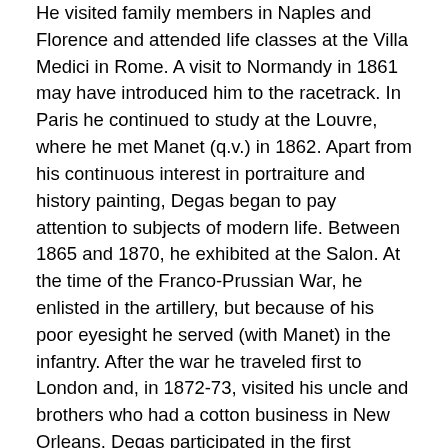He visited family members in Naples and Florence and attended life classes at the Villa Medici in Rome. A visit to Normandy in 1861 may have introduced him to the racetrack. In Paris he continued to study at the Louvre, where he met Manet (q.v.) in 1862. Apart from his continuous interest in portraiture and history painting, Degas began to pay attention to subjects of modern life. Between 1865 and 1870, he exhibited at the Salon. At the time of the Franco-Prussian War, he enlisted in the artillery, but because of his poor eyesight he served (with Manet) in the infantry. After the war he traveled first to London and, in 1872-73, visited his uncle and brothers who had a cotton business in New Orleans. Degas participated in the first impressionist exhibition of 1874. He continued to exhibit with these artists until 1886 but never completely considered himself a member of the group, preferring to call himself a realist or naturalist. While many of the impressionists painted en plein air, Degas worked with models in his studio and, later in his career, from his imagination. In addition to painting, he experimented often with monotypes, engraving, pastels, sculpture, and photography. He traveled extensively-London, Naples, Spain, Morocco, and Switzerland-but continued to draw his